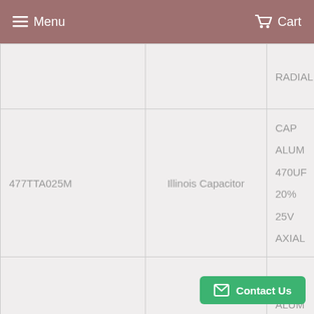Menu    Cart
|  |  | RADIAL |
| 477TTA025M | Illinois Capacitor | CAP ALUM 470UF 20% 25V AXIAL |
| EEU-EB1V102 | Panasonic Electronic Components | CAP ALUM 1000UF 20% 35V RADIAL |
|  |  | CAP |
Contact Us